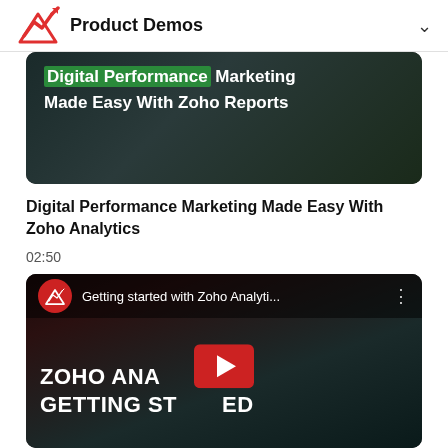Product Demos
[Figure (screenshot): Video thumbnail for 'Digital Performance Marketing Made Easy With Zoho Reports' showing dark background with green highlighted text and bold white title]
Digital Performance Marketing Made Easy With Zoho Analytics
02:50
[Figure (screenshot): YouTube video embed for 'Getting started with Zoho Analyti...' showing Zoho Analytics logo, channel name, ZOHO ANALYTICS GETTING STARTED text with YouTube play button overlay]